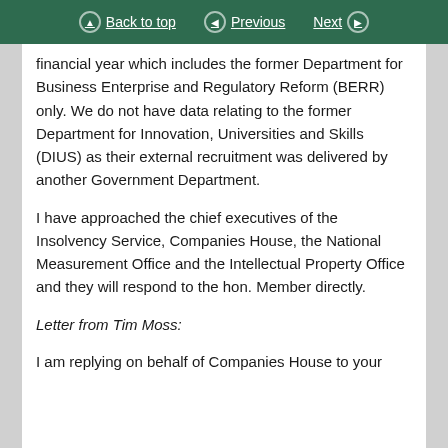Back to top | Previous | Next
financial year which includes the former Department for Business Enterprise and Regulatory Reform (BERR) only. We do not have data relating to the former Department for Innovation, Universities and Skills (DIUS) as their external recruitment was delivered by another Government Department.
I have approached the chief executives of the Insolvency Service, Companies House, the National Measurement Office and the Intellectual Property Office and they will respond to the hon. Member directly.
Letter from Tim Moss:
I am replying on behalf of Companies House to your